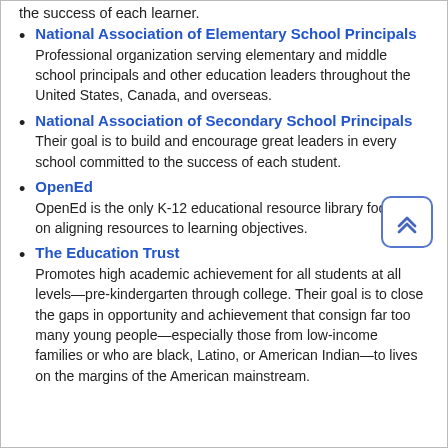the success of each learner.
National Association of Elementary School Principals
Professional organization serving elementary and middle school principals and other education leaders throughout the United States, Canada, and overseas.
National Association of Secondary School Principals
Their goal is to build and encourage great leaders in every school committed to the success of each student.
OpenEd
OpenEd is the only K-12 educational resource library focused on aligning resources to learning objectives.
The Education Trust
Promotes high academic achievement for all students at all levels—pre-kindergarten through college. Their goal is to close the gaps in opportunity and achievement that consign far too many young people—especially those from low-income families or who are black, Latino, or American Indian—to lives on the margins of the American mainstream.